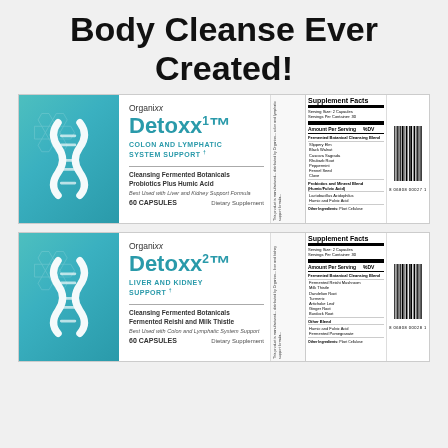Body Cleanse Ever Created!
[Figure (photo): Product label for Organixx Detoxx1 supplement - Colon and Lymphatic System Support, 60 capsules, with DNA helix logo, supplement facts panel, and barcode]
[Figure (photo): Product label for Organixx Detoxx2 supplement - Liver and Kidney Support, 60 capsules, with DNA helix logo, supplement facts panel, and barcode]